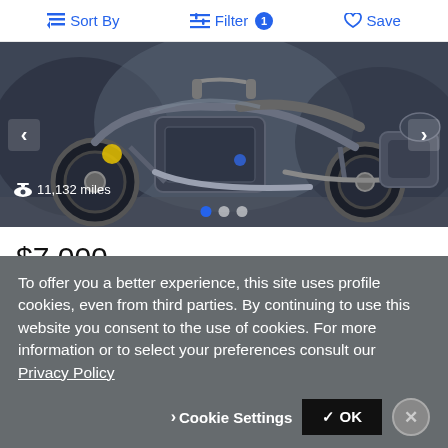Sort By | Filter 1 | Save
[Figure (photo): Close-up photo of a dark blue/grey Kawasaki Vulcan S motorcycle engine and body, showing chrome parts and mechanical details. Shows 11,132 miles and image carousel dots.]
$7,000
Used 2020 Kawasaki Cruiser Motorcycle
Vulcan® S
MotoMember
Purcellville, VA - 17 mi away
To offer you a better experience, this site uses profile cookies, even from third parties. By continuing to use this website you consent to the use of cookies. For more information or to select your preferences consult our Privacy Policy